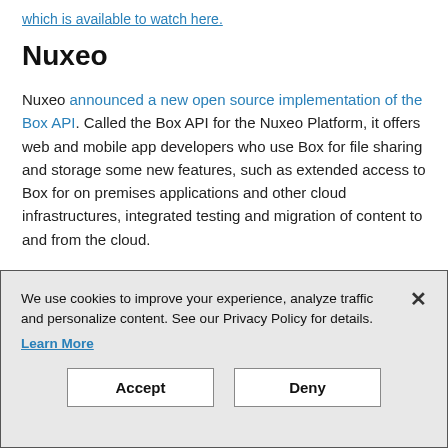which is available to watch here.
Nuxeo
Nuxeo announced a new open source implementation of the Box API. Called the Box API for the Nuxeo Platform, it offers web and mobile app developers who use Box for file sharing and storage some new features, such as extended access to Box for on premises applications and other cloud infrastructures, integrated testing and migration of content to and from the cloud.
You can read more about why the company chose to
We use cookies to improve your experience, analyze traffic and personalize content. See our Privacy Policy for details. Learn More
Accept
Deny